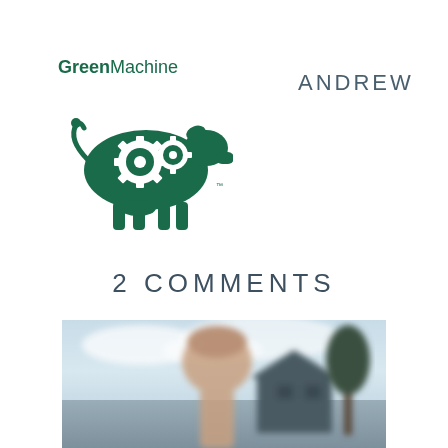[Figure (logo): GreenMachine logo: green text with a cow silhouette containing gear icons]
ANDREW
2 COMMENTS
[Figure (photo): Blurred outdoor photo of a young child in profile, with a barn/building and tree in the background under a cloudy sky]